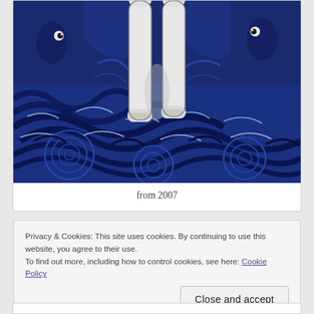[Figure (illustration): A painting showing white legs (possibly a figure or horse) wading in swirling dark blue water with wave patterns. Blue and dark background with circular ripple motifs.]
from 2007
Privacy & Cookies: This site uses cookies. By continuing to use this website, you agree to their use.
To find out more, including how to control cookies, see here: Cookie Policy
Close and accept